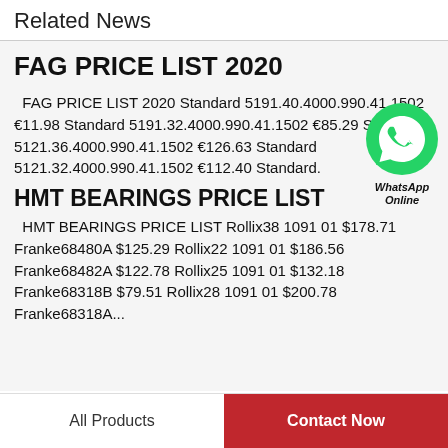Related News
FAG PRICE LIST 2020
FAG PRICE LIST 2020 Standard 5191.40.4000.990.41.1502 €11.98 Standard 5191.32.4000.990.41.1502 €85.29 Standard 5121.36.4000.990.41.1502 €126.63 Standard 5121.32.4000.990.41.1502 €112.40 Standard.
[Figure (illustration): WhatsApp green phone bubble icon with WhatsApp Online label]
HMT BEARINGS PRICE LIST
HMT BEARINGS PRICE LIST Rollix38 1091 01 $178.71 Franke68480A $125.29 Rollix22 1091 01 $186.56 Franke68482A $122.78 Rollix25 1091 01 $132.18 Franke68318B $79.51 Rollix28 1091 01 $200.78 Franke68318A...
All Products   Contact Now